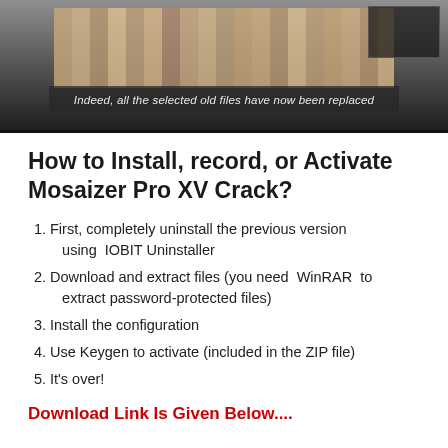[Figure (screenshot): Screenshot of Mosaizer Pro XV software showing a mosaic photo replacement interface with the caption overlay 'Indeed, all the selected old files have now been replaced']
How to Install, record, or Activate Mosaizer Pro XV Crack?
First, completely uninstall the previous version using IOBIT Uninstaller
Download and extract files (you need WinRAR to extract password-protected files)
Install the configuration
Use Keygen to activate (included in the ZIP file)
It's over!
Download Link Is Given Below....